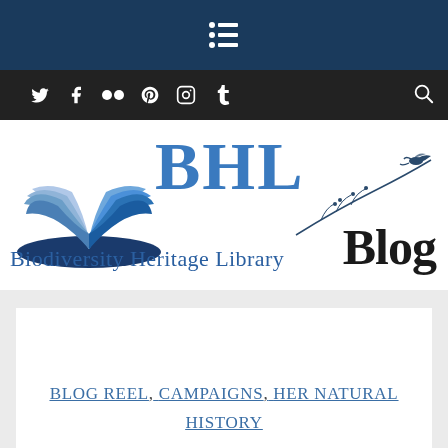[Figure (logo): Hamburger/list menu icon in white on navy background]
Social media icons: Twitter, Facebook, Flickr, Pinterest, Instagram, Tumblr, and search icon
[Figure (logo): Biodiversity Heritage Library Blog logo — open book icon in blues, BHL text in blue, 'Biodiversity Heritage Library' text, decorative branch with bird, and 'Blog' in dark serif text]
BLOG REEL, CAMPAIGNS, HER NATURAL HISTORY